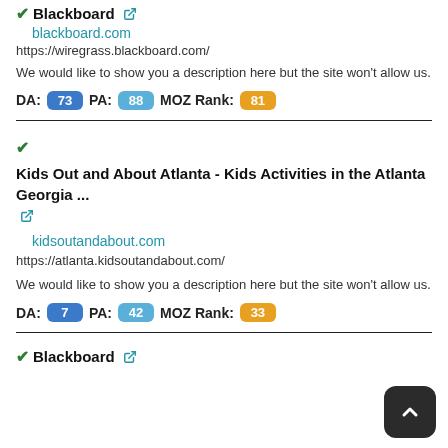Blackboard ✓ 🔗
blackboard.com
https://wiregrass.blackboard.com/
We would like to show you a description here but the site won't allow us.
DA: 73  PA: 88  MOZ Rank: 81
✓ Kids Out and About Atlanta - Kids Activities in the Atlanta Georgia ... 🔗
kidsoutandabout.com
https://atlanta.kidsoutandabout.com/
We would like to show you a description here but the site won't allow us.
DA: 7  PA: 42  MOZ Rank: 33
✓ Blackboard 🔗